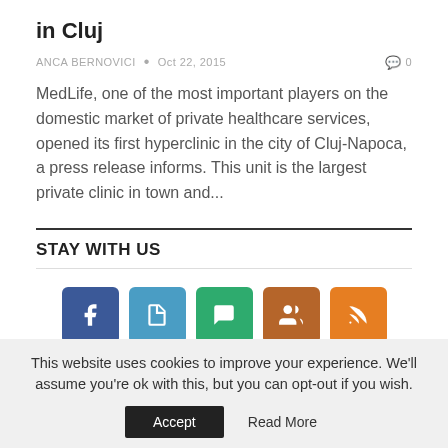in Cluj
ANCA BERNOVICI  •  Oct 22, 2015
MedLife, one of the most important players on the domestic market of private healthcare services, opened its first hyperclinic in the city of Cluj-Napoca, a press release informs. This unit is the largest private clinic in town and...
STAY WITH US
[Figure (infographic): Five social media icon buttons: Facebook (blue), document (light blue), chat (green), group (brown), RSS (orange)]
This website uses cookies to improve your experience. We'll assume you're ok with this, but you can opt-out if you wish. Accept  Read More